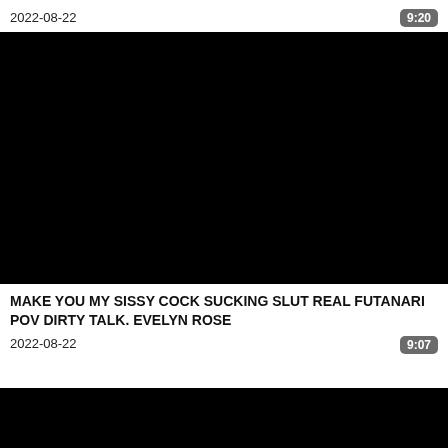2022-08-22
9:20
[Figure (photo): Black video thumbnail]
MAKE YOU MY SISSY COCK SUCKING SLUT REAL FUTANARI POV DIRTY TALK. EVELYN ROSE
2022-08-22
9:07
[Figure (photo): Black video thumbnail (partially visible)]